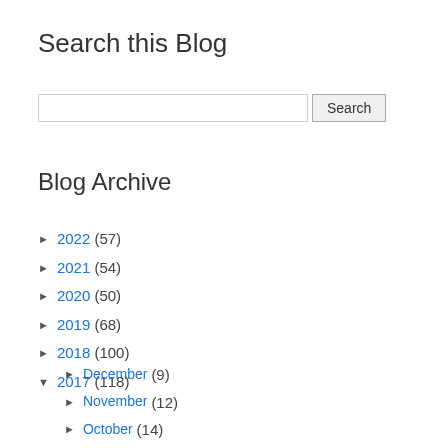Search this Blog
[Figure (other): Search input box with Search button]
Blog Archive
► 2022 (57)
► 2021 (54)
► 2020 (50)
► 2019 (68)
► 2018 (100)
▼ 2017 (118)
► December (9)
► November (12)
► October (14)
► September (10)